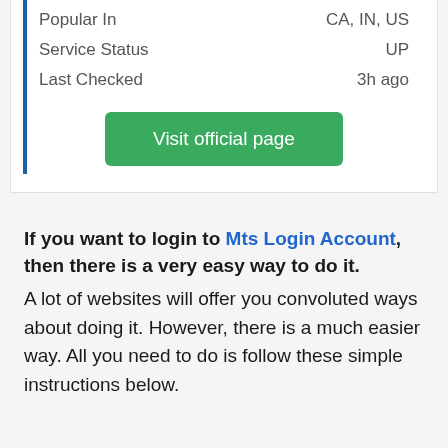| Field | Value |
| --- | --- |
| Popular In | CA, IN, US |
| Service Status | UP |
| Last Checked | 3h ago |
Visit official page
If you want to login to Mts Login Account, then there is a very easy way to do it. A lot of websites will offer you convoluted ways about doing it. However, there is a much easier way. All you need to do is follow these simple instructions below.